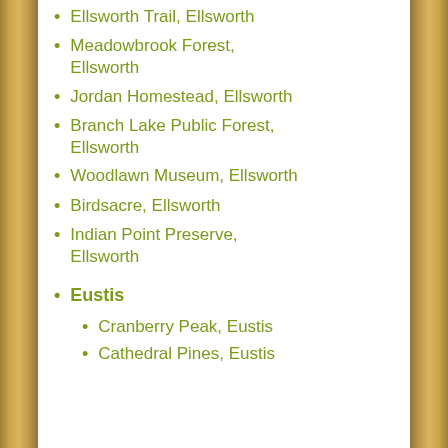Ellsworth Trail, Ellsworth
Meadowbrook Forest, Ellsworth
Jordan Homestead, Ellsworth
Branch Lake Public Forest, Ellsworth
Woodlawn Museum, Ellsworth
Birdsacre, Ellsworth
Indian Point Preserve, Ellsworth
Eustis
Cranberry Peak, Eustis
Cathedral Pines, Eustis